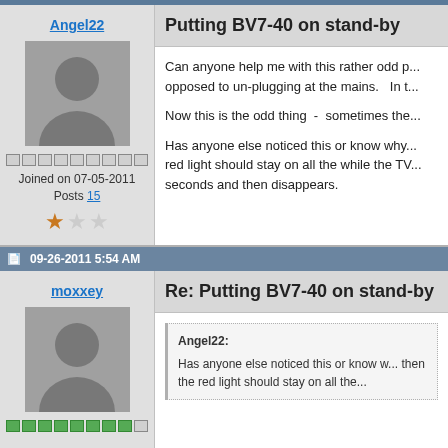Putting BV7-40 on stand-by
Can anyone help me with this rather odd p... opposed to un-plugging at the mains.   In t...
Now this is the odd thing  -  sometimes the...
Has anyone else noticed this or know why... red light should stay on all the while the TV... seconds and then disappears.
09-26-2011 5:54 AM
Re: Putting BV7-40 on stand-by
Angel22:
Has anyone else noticed this or know w... then the red light should stay on all the...